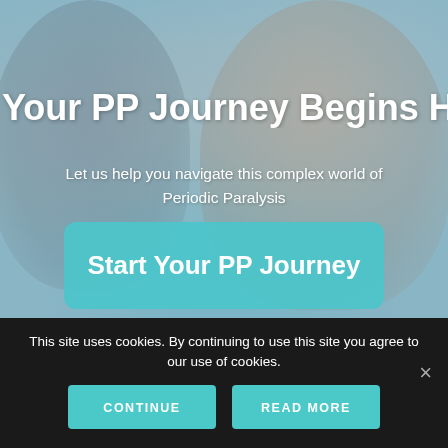[Figure (photo): Hero banner with two people smiling against a blurred background, overlaid with teal tint. Shows a man with glasses on the left and a blonde woman on the right.]
Your PP Journey Begins Here
Let us help you navigate this complex world of Periodic Paralysis
Start Your PP Journey
This site uses cookies. By continuing to use this site you agree to our use of cookies.
CONTINUE
READ MORE